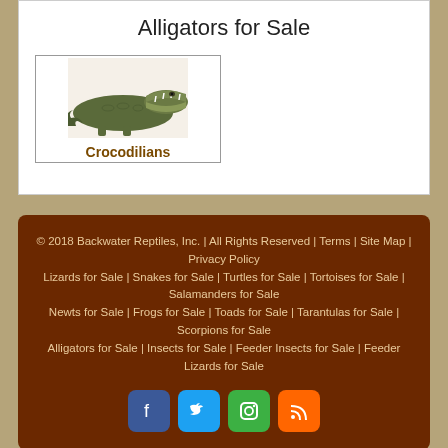Alligators for Sale
[Figure (photo): Photo of an alligator with open mouth, labeled 'Crocodilians']
© 2018 Backwater Reptiles, Inc. | All Rights Reserved | Terms | Site Map | Privacy Policy
Lizards for Sale | Snakes for Sale | Turtles for Sale | Tortoises for Sale | Salamanders for Sale
Newts for Sale | Frogs for Sale | Toads for Sale | Tarantulas for Sale | Scorpions for Sale
Alligators for Sale | Insects for Sale | Feeder Insects for Sale | Feeder Lizards for Sale
[Figure (infographic): Social media icons: Facebook (blue), Twitter (cyan), Instagram (green), RSS (orange)]